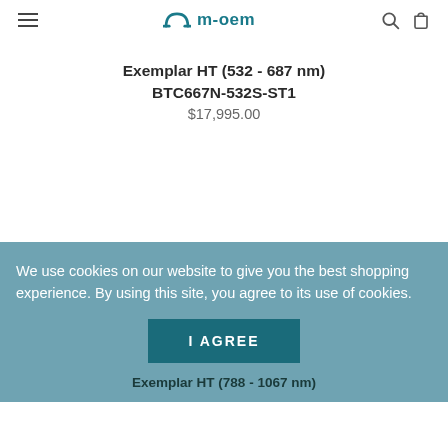m-oem
Exemplar HT (532 - 687 nm)
BTC667N-532S-ST1
$17,995.00
We use cookies on our website to give you the best shopping experience. By using this site, you agree to its use of cookies.
I AGREE
Exemplar HT (788 - 1067 nm)